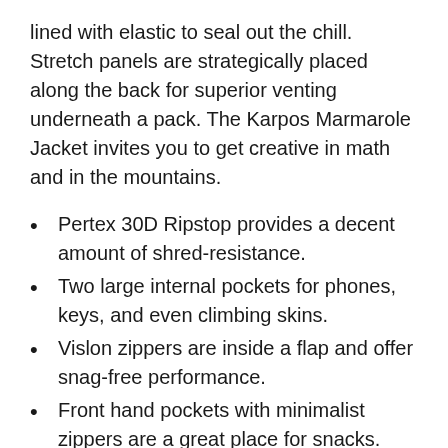lined with elastic to seal out the chill. Stretch panels are strategically placed along the back for superior venting underneath a pack. The Karpos Marmarole Jacket invites you to get creative in math and in the mountains.
Pertex 30D Ripstop provides a decent amount of shred-resistance.
Two large internal pockets for phones, keys, and even climbing skins.
Vislon zippers are inside a flap and offer snag-free performance.
Front hand pockets with minimalist zippers are a great place for snacks.
Crazy-comfy fleece is a specialty of Karpos.